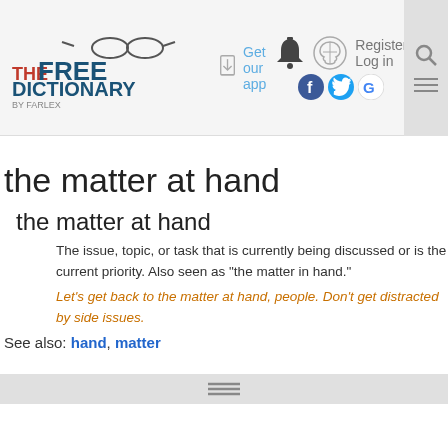The Free Dictionary by Farlex — Get our app — Register Log in
the matter at hand
the matter at hand
The issue, topic, or task that is currently being discussed or is the current priority. Also seen as "the matter in hand."
Let's get back to the matter at hand, people. Don't get distracted by side issues.
See also: hand, matter